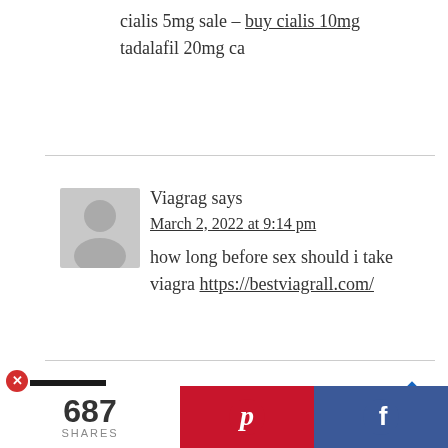cialis 5mg sale – buy cialis 10mg tadalafil 20mg ca
Viagrag says
March 2, 2022 at 9:14 pm
how long before sex should i take viagra https://bestviagrall.com/
[Figure (infographic): CarMax advertisement: logo with 'cm' text, headline 'See Cars Your Budget Will Love', brand name 'CarMax', blue diamond arrow icon]
687 SHARES
[Figure (logo): Pinterest share button (red background with white P icon)]
[Figure (logo): Facebook share button (blue background with white f icon)]